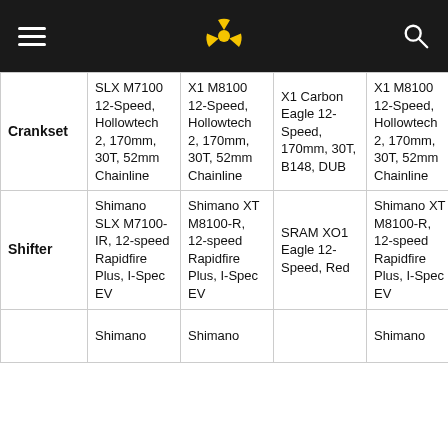Navigation header with hamburger menu, radiation symbol logo, and search icon
|  | SLX M7100 12-Speed, Hollowtech 2, 170mm, 30T, 52mm Chainline | XT M8100 12-Speed, Hollowtech 2, 170mm, 30T, 52mm Chainline | X1 Carbon Eagle 12-Speed, 170mm, 30T, B148, DUB | XT M8100 12-Speed, Hollowtech 2, 170mm, 30T, 52mm Chainline |
| --- | --- | --- | --- | --- |
| Crankset | SLX M7100 12-Speed, Hollowtech 2, 170mm, 30T, 52mm Chainline | XT M8100 12-Speed, Hollowtech 2, 170mm, 30T, 52mm Chainline | X1 Carbon Eagle 12-Speed, 170mm, 30T, B148, DUB | XT M8100 12-Speed, Hollowtech 2, 170mm, 30T, 52mm Chainline |
| Shifter | Shimano SLX M7100-IR, 12-speed Rapidfire Plus, I-Spec EV | Shimano XT M8100-R, 12-speed Rapidfire Plus, I-Spec EV | SRAM XO1 Eagle 12-Speed, Red | Shimano XT M8100-R, 12-speed Rapidfire Plus, I-Spec EV |
|  | Shimano | Shimano |  | Shimano |